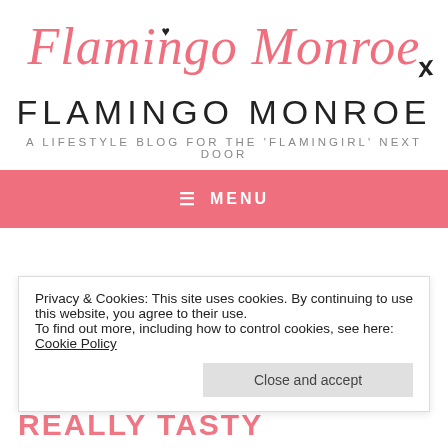[Figure (logo): Flamingo Monroe script logo in coral/pink color with a small heart above the 'i' and a handwritten 'x' at the bottom right]
FLAMINGO MONROE
A LIFESTYLE BLOG FOR THE 'FLAMINGIRL' NEXT DOOR
≡ MENU
Privacy & Cookies: This site uses cookies. By continuing to use this website, you agree to their use.
To find out more, including how to control cookies, see here: Cookie Policy
Close and accept
REALLY TASTY